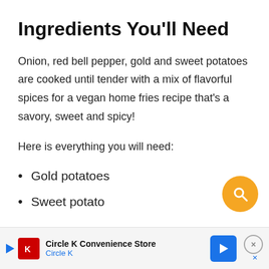Ingredients You'll Need
Onion, red bell pepper, gold and sweet potatoes are cooked until tender with a mix of flavorful spices for a vegan home fries recipe that's a savory, sweet and spicy!
Here is everything you will need:
Gold potatoes
Sweet potato
[Figure (other): Orange circular search button with magnifying glass icon, positioned bottom right]
Circle K Convenience Store
Circle K — advertisement bar at bottom